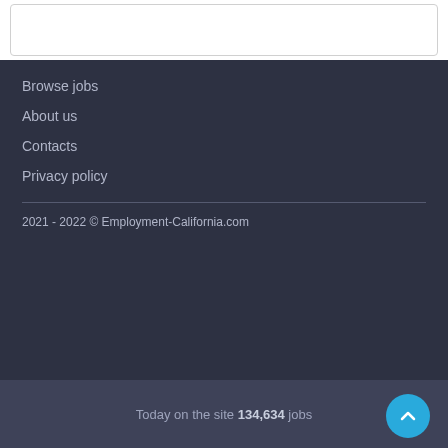Browse jobs
About us
Contacts
Privacy policy
2021 - 2022 © Employment-California.com
Today on the site 134,634 jobs